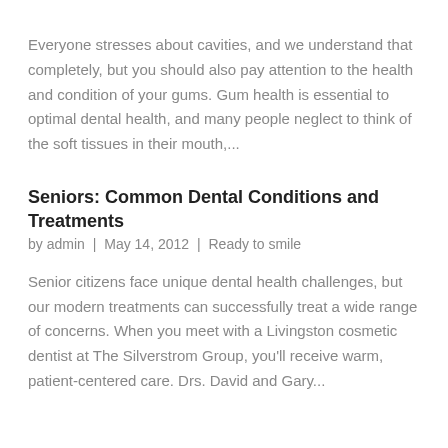Everyone stresses about cavities, and we understand that completely, but you should also pay attention to the health and condition of your gums. Gum health is essential to optimal dental health, and many people neglect to think of the soft tissues in their mouth,...
Seniors: Common Dental Conditions and Treatments
by admin | May 14, 2012 | Ready to smile
Senior citizens face unique dental health challenges, but our modern treatments can successfully treat a wide range of concerns. When you meet with a Livingston cosmetic dentist at The Silverstrom Group, you'll receive warm, patient-centered care. Drs. David and Gary...